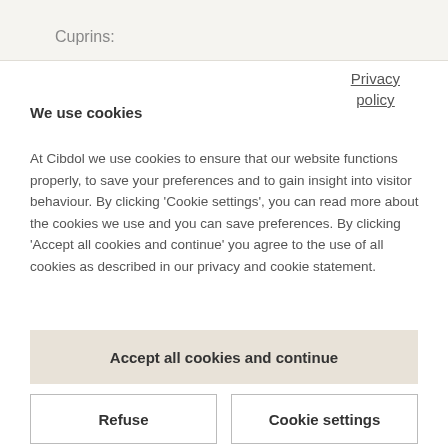Cuprins:
Privacy policy
We use cookies
At Cibdol we use cookies to ensure that our website functions properly, to save your preferences and to gain insight into visitor behaviour. By clicking 'Cookie settings', you can read more about the cookies we use and you can save preferences. By clicking 'Accept all cookies and continue' you agree to the use of all cookies as described in our privacy and cookie statement.
Accept all cookies and continue
Refuse
Cookie settings